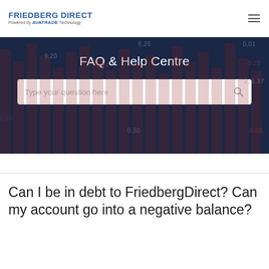FRIEDBERG DIRECT Powered by AVATRADE Technology
FAQ & Help Centre
[Figure (screenshot): Search bar with placeholder text 'Type your question here' and a search icon on the right, on a dark navy hero banner with stock ticker numbers in the background.]
Can I be in debt to FriedbergDirect? Can my account go into a negative balance?